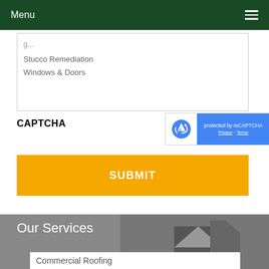Menu
Stucco Remediation
Windows & Doors
CAPTCHA
[Figure (other): reCAPTCHA widget showing logo and 'protected by reCAPTCHA' text on blue background with Privacy and Terms links]
SUBMIT
Our Services
Commercial Roofing